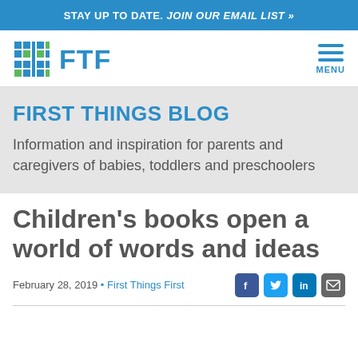STAY UP TO DATE. Join our email list »
[Figure (logo): FTF (First Things First) logo with grid icon and 'FTF' text in blue, plus hamburger MENU icon on the right]
FIRST THINGS BLOG
Information and inspiration for parents and caregivers of babies, toddlers and preschoolers
Children's books open a world of words and ideas
February 28, 2019 • First Things First